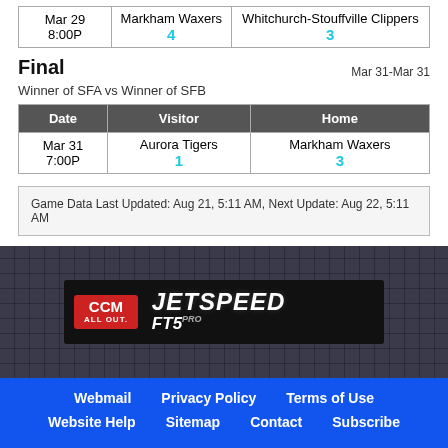| Date | Visitor | Home |
| --- | --- | --- |
| Mar 29 8:00P | Markham Waxers 4 | Whitchurch-Stouffville Clippers 3 |
Final
Mar 31-Mar 31
Winner of SFA vs Winner of SFB
| Date | Visitor | Home |
| --- | --- | --- |
| Mar 31 7:00P | Aurora Tigers 1 | Markham Waxers 3 |
Game Data Last Updated: Aug 21, 5:11 AM, Next Update: Aug 22, 5:11 AM
[Figure (logo): CCM All Out. Jetspeed FT5 Pro advertisement banner]
Webmail | Privacy Policy | Terms of Use | Website Help | Sitemap | Contact | Subscribe